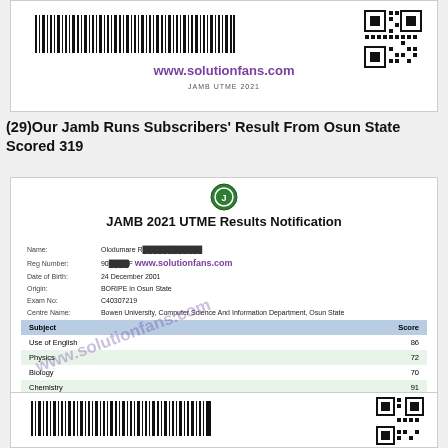[Figure (other): Top card with barcode, QR code, website URL www.solutionfans.com and JAMB UTME 2021 label]
(29)Our Jamb Runs Subscribers' Result From Osun State Scored 319
[Figure (other): JAMB 2021 UTME Results Notification card with logo, candidate info, subject scores table (Use of English 86, Physics 72, Biology 70, Chemistry 91), Total Score: 319, and solutionfans.com watermark]
[Figure (other): Bottom card with barcode and QR code]